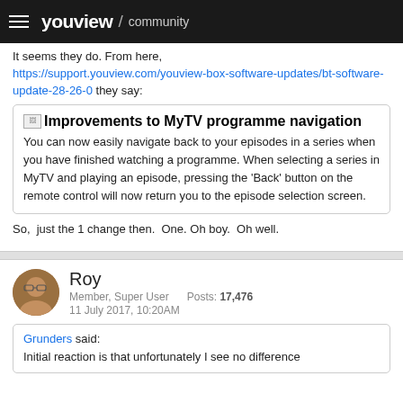youview / community
It seems they do. From here, https://support.youview.com/youview-box-software-updates/bt-software-update-28-26-0 they say:
Whats new image Improvements to MyTV programme navigation
You can now easily navigate back to your episodes in a series when you have finished watching a programme. When selecting a series in MyTV and playing an episode, pressing the 'Back' button on the remote control will now return you to the episode selection screen.
So,  just the 1 change then.  One. Oh boy.  Oh well.
Roy
Member, Super User    Posts: 17,476
11 July 2017, 10:20AM
Grunders said:
Initial reaction is that unfortunately I see no difference